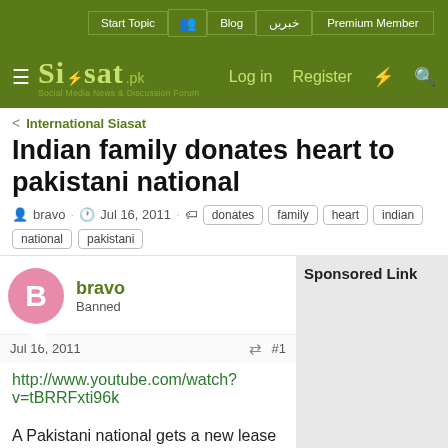Start Topic | Blog | خبریں | Premium Member | Log in | Register
[Figure (logo): Siasat.pk logo - Social Media News & Discussion Forum on green background]
International Siasat
Indian family donates heart to pakistani national
bravo · Jul 16, 2011 · donates family heart indian national pakistani
bravo
Banned
Jul 16, 2011  #1
http://www.youtube.com/watch?v=tBRRFxti96k
A Pakistani national gets a new lease of life, thanks to an Indian family that donated
Sponsored Link